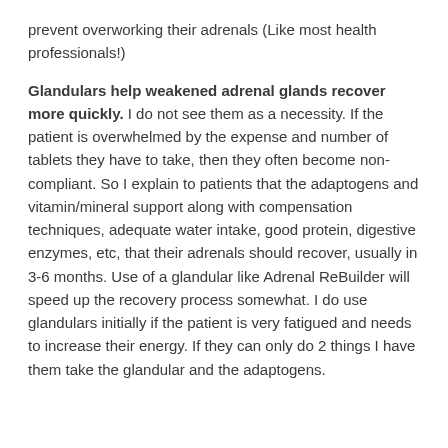prevent overworking their adrenals (Like most health professionals!)
Glandulars help weakened adrenal glands recover more quickly. I do not see them as a necessity. If the patient is overwhelmed by the expense and number of tablets they have to take, then they often become non-compliant. So I explain to patients that the adaptogens and vitamin/mineral support along with compensation techniques, adequate water intake, good protein, digestive enzymes, etc, that their adrenals should recover, usually in 3-6 months. Use of a glandular like Adrenal ReBuilder will speed up the recovery process somewhat. I do use glandulars initially if the patient is very fatigued and needs to increase their energy. If they can only do 2 things I have them take the glandular and the adaptogens.